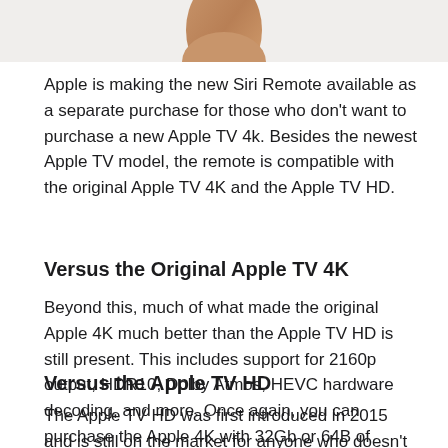[Figure (photo): Partial view of a person's hand/arm holding or near the new Siri Remote, shown against a light background. Only the bottom portion of the image is visible.]
Apple is making the new Siri Remote available as a separate purchase for those who don't want to purchase a new Apple TV 4k. Besides the newest Apple TV model, the remote is compatible with the original Apple TV 4K and the Apple TV HD.
Versus the Original Apple TV 4K
Beyond this, much of what made the original Apple 4K much better than the Apple TV HD is still present. This includes support for 2160p output, HDR10, Dolby Atmos, HEVC hardware decoding, and more. Once again, you can purchase the Apple 4K with 32Gb or 64B of storage.
Versus the Apple TV HD
The Apple TV HD was first introduced in 2015 and is still on the market for anyone who doesn't have a 4K...